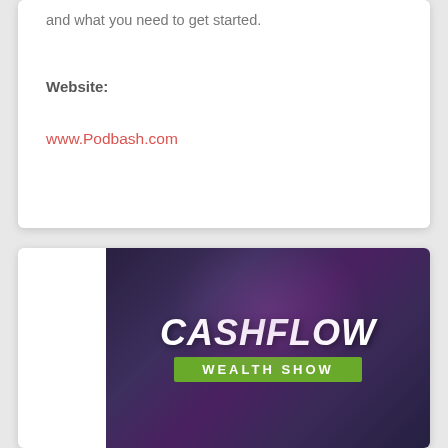and what you need to get started.
Website:
www.Podbash.com
[Figure (logo): Cashflow Wealth Show logo on a dark purple gradient background. Large bold italic white text reads CASHFLOW above a green rectangular bar containing the text WEALTH SHOW in white uppercase letters.]